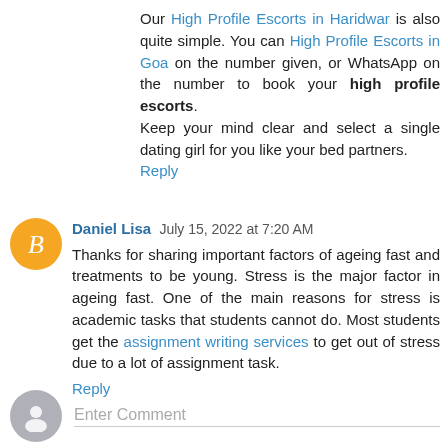Our High Profile Escorts in Haridwar is also quite simple. You can High Profile Escorts in Goa on the number given, or WhatsApp on the number to book your high profile escorts.
Keep your mind clear and select a single dating girl for you like your bed partners.
Reply
Daniel Lisa  July 15, 2022 at 7:20 AM
Thanks for sharing important factors of ageing fast and treatments to be young. Stress is the major factor in ageing fast. One of the main reasons for stress is academic tasks that students cannot do. Most students get the assignment writing services to get out of stress due to a lot of assignment task.
Reply
Enter Comment